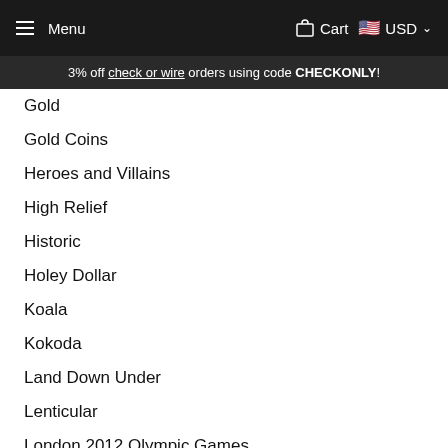Menu  Cart  USD
3% off check or wire orders using code CHECKONLY!
Gold
Gold Coins
Heroes and Villains
High Relief
Historic
Holey Dollar
Koala
Kokoda
Land Down Under
Lenticular
London 2012 Olympic Games
Map-Shaped Coin
Marilyn Monroe
Maritime
Maritime and Ships
Medal